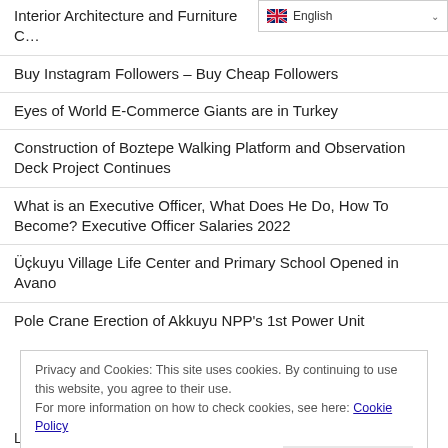Interior Architecture and Furniture C…
Buy Instagram Followers – Buy Cheap Followers
Eyes of World E-Commerce Giants are in Turkey
Construction of Boztepe Walking Platform and Observation Deck Project Continues
What is an Executive Officer, What Does He Do, How To Become? Executive Officer Salaries 2022
Üçkuyu Village Life Center and Primary School Opened in Avano
Pole Crane Erection of Akkuyu NPP's 1st Power Unit
Privacy and Cookies: This site uses cookies. By continuing to use this website, you agree to their use.
For more information on how to check cookies, see here: Cookie Policy
OK
Logistics